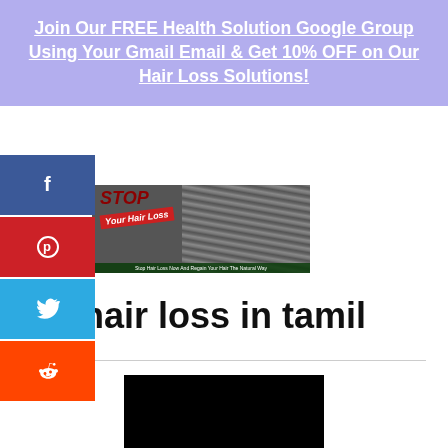Join Our FREE Health Solution Google Group Using Your Gmail Email & Get 10% OFF on Our Hair Loss Solutions!
[Figure (infographic): Social share buttons: Facebook (blue), Pinterest (red), Twitter (blue), Reddit (orange)]
[Figure (illustration): Stop Your Hair Loss banner image with red stamp text and hair photo]
hair loss in tamil
[Figure (other): Black video thumbnail area at bottom]